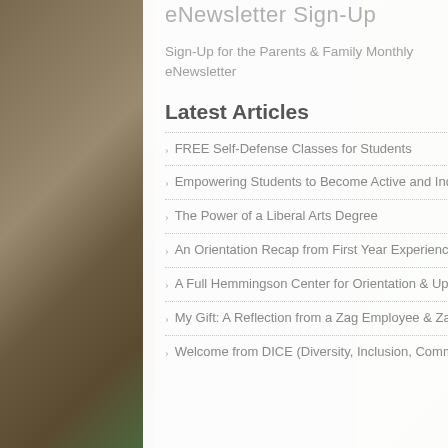eNewsletter Sign-Up
Sign-Up for the Parents & Family Monthly eNewsletter
Latest Articles
FREE Self-Defense Classes for Students
Empowering Students to Become Active and Independent Learners in their own Academic Success
The Power of a Liberal Arts Degree
An Orientation Recap from First Year Experience Programs
A Full Hemmingson Center for Orientation & Upcoming Events
My Gift: A Reflection from a Zag Employee & Zag Mom
Welcome from DICE (Diversity, Inclusion, Community, & Equity) and Fall 2018 Calendar of